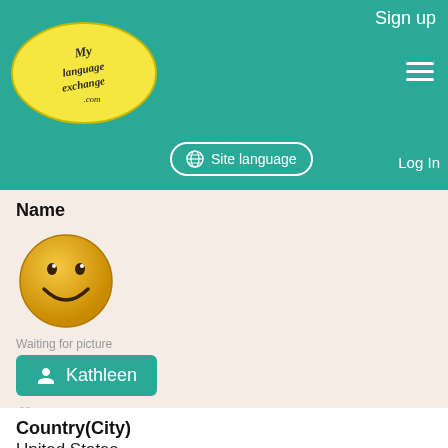Sign up | Site language | Log In
[Figure (logo): MyLanguageExchange.com logo — yellow oval with cursive text]
Name
[Figure (illustration): Yellow smiley face emoji — Waiting for picture]
Kathleen
Add to Favorites
December 29, 2021
Country(City)
United States
(West Virginia)
Native Language
English
Practicing Language
Italian